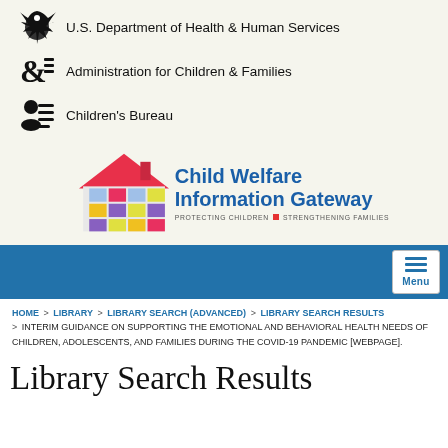[Figure (logo): U.S. Department of Health & Human Services logo with eagle icon]
U.S. Department of Health & Human Services
[Figure (logo): Administration for Children & Families logo]
Administration for Children & Families
[Figure (logo): Children's Bureau logo]
Children's Bureau
[Figure (logo): Child Welfare Information Gateway logo - house with colored squares, tagline: PROTECTING CHILDREN | STRENGTHENING FAMILIES]
[Figure (screenshot): Navigation bar with Menu button]
HOME > LIBRARY > LIBRARY SEARCH (ADVANCED) > LIBRARY SEARCH RESULTS > INTERIM GUIDANCE ON SUPPORTING THE EMOTIONAL AND BEHAVIORAL HEALTH NEEDS OF CHILDREN, ADOLESCENTS, AND FAMILIES DURING THE COVID-19 PANDEMIC [WEBPAGE].
Library Search Results